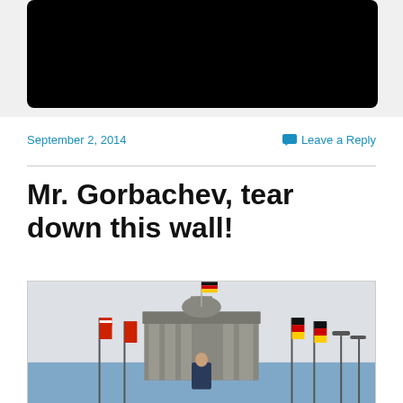[Figure (screenshot): Top portion of a web page showing a dark/black image area cropped at the top, suggesting a video or image embed with a black background]
September 2, 2014
Leave a Reply
Mr. Gorbachev, tear down this wall!
[Figure (photo): Black and white photograph of Ronald Reagan speaking at the Brandenburg Gate in Berlin, with American and German flags flanking the podium and the gate's quadriga visible behind him]